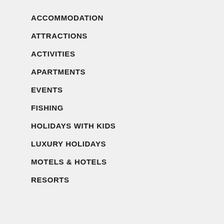ACCOMMODATION
ATTRACTIONS
ACTIVITIES
APARTMENTS
EVENTS
FISHING
HOLIDAYS WITH KIDS
LUXURY HOLIDAYS
MOTELS & HOTELS
RESORTS